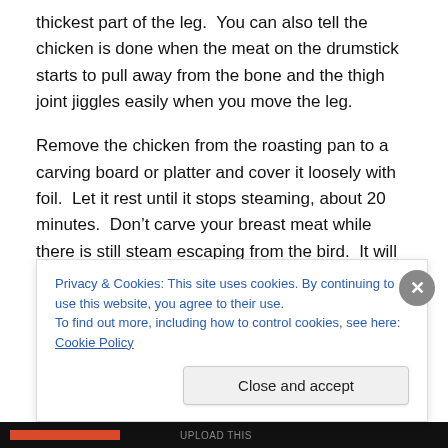thickest part of the leg.  You can also tell the chicken is done when the meat on the drumstick starts to pull away from the bone and the thigh joint jiggles easily when you move the leg.
Remove the chicken from the roasting pan to a carving board or platter and cover it loosely with foil.  Let it rest until it stops steaming, about 20 minutes.  Don't carve your breast meat while there is still steam escaping from the bird.  It will dry out.  If you stuffed the bird, remove all the stuffing as soon as you remove the bird from the oven.
Privacy & Cookies: This site uses cookies. By continuing to use this website, you agree to their use.
To find out more, including how to control cookies, see here: Cookie Policy